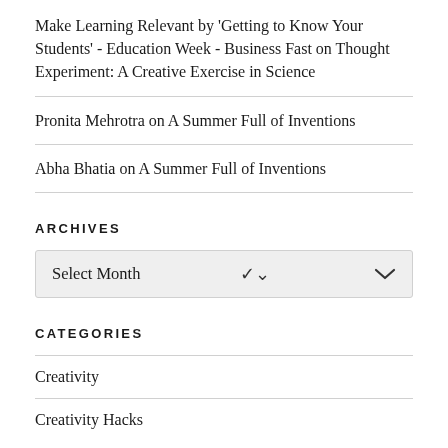Make Learning Relevant by 'Getting to Know Your Students' - Education Week - Business Fast on Thought Experiment: A Creative Exercise in Science
Pronita Mehrotra on A Summer Full of Inventions
Abha Bhatia on A Summer Full of Inventions
ARCHIVES
Select Month
CATEGORIES
Creativity
Creativity Hacks